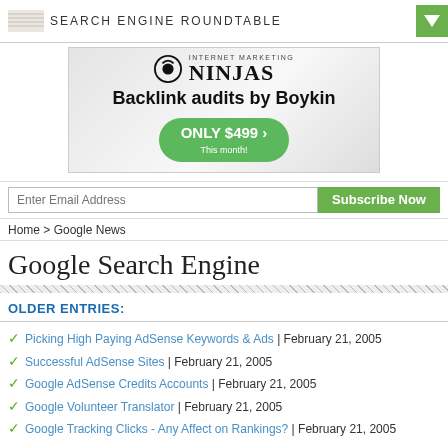SEARCH ENGINE ROUNDTABLE
[Figure (illustration): Internet Marketing Ninjas ad banner with logo, 'Backlink audits by Boykin', 'ONLY $499 This month!' green pill button]
Enter Email Address | Subscribe Now
Home > Google News
Google Search Engine
OLDER ENTRIES:
Picking High Paying AdSense Keywords & Ads | February 21, 2005
Successful AdSense Sites | February 21, 2005
Google AdSense Credits Accounts | February 21, 2005
Google Volunteer Translator | February 21, 2005
Google Tracking Clicks - Any Affect on Rankings? | February 21, 2005